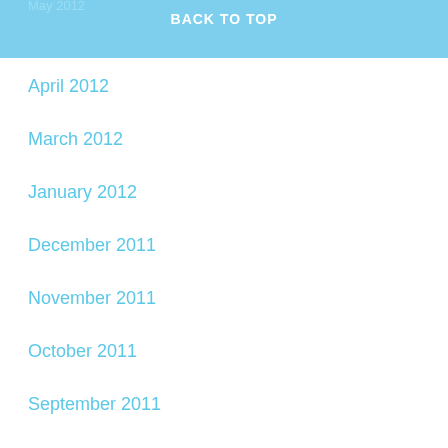May 2012  BACK TO TOP
April 2012
March 2012
January 2012
December 2011
November 2011
October 2011
September 2011
August 2011
July 2011